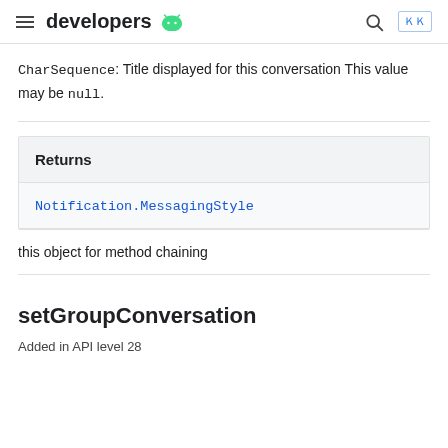developers
CharSequence: Title displayed for this conversation This value may be null.
| Returns |
| --- |
| Notification.MessagingStyle |
| this object for method chaining |
setGroupConversation
Added in API level 28